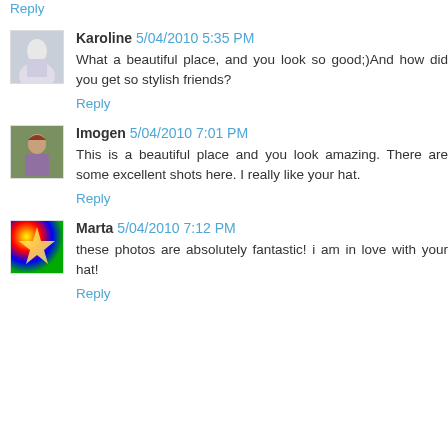Reply
Karoline 5/04/2010 5:35 PM
What a beautiful place, and you look so good;)And how did you get so stylish friends?
Reply
Imogen 5/04/2010 7:01 PM
This is a beautiful place and you look amazing. There are some excellent shots here. I really like your hat.
Reply
Marta 5/04/2010 7:12 PM
these photos are absolutely fantastic! i am in love with your hat!
Reply